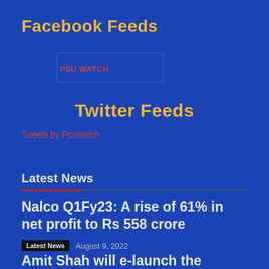Facebook Feeds
PSU WATCH
Twitter Feeds
Tweets by PsuWatch
Latest News
Nalco Q1Fy23: A rise of 61% in net profit to Rs 558 crore
Latest News  August 9, 2022
Amit Shah will e-launch the onboarding of cooperatives on the GeM portal